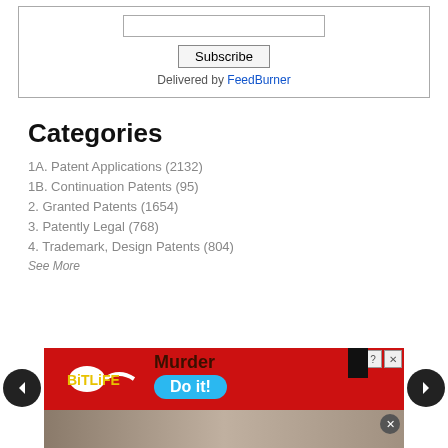[Figure (screenshot): Subscribe form box with input field, Subscribe button, and 'Delivered by FeedBurner' text]
Categories
1A. Patent Applications (2132)
1B. Continuation Patents (95)
2. Granted Patents (1654)
3. Patently Legal (768)
4. Trademark, Design Patents (804)
See More
[Figure (photo): BitLife advertisement banner and photo strip at bottom of page with navigation arrows]